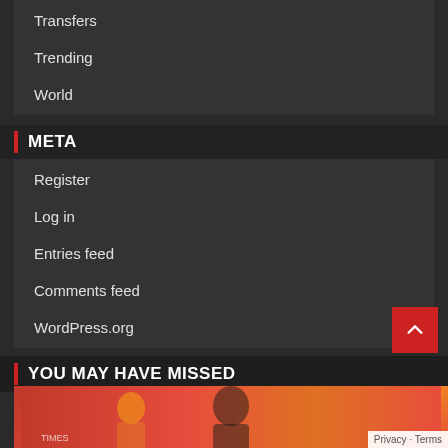Transfers
Trending
World
META
Register
Log in
Entries feed
Comments feed
WordPress.org
YOU MAY HAVE MISSED
[Figure (photo): Partial photo strip at bottom showing people against a red/orange background, partially visible]